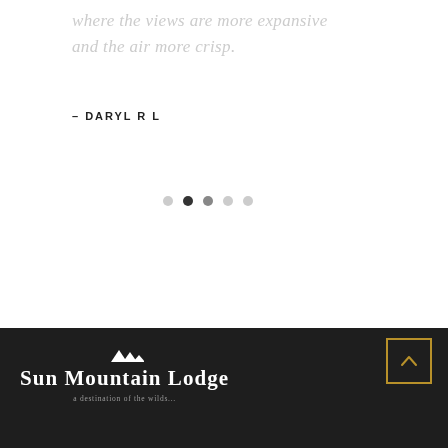where the views are more expansive and the air more crisp.
– DARYL R L
[Figure (other): Pagination dots, 5 total, second dot active (dark), others light gray]
[Figure (logo): Sun Mountain Lodge logo with mountain peak icon above text on dark footer background. A gold-bordered back-to-top button is in the upper right of the footer.]